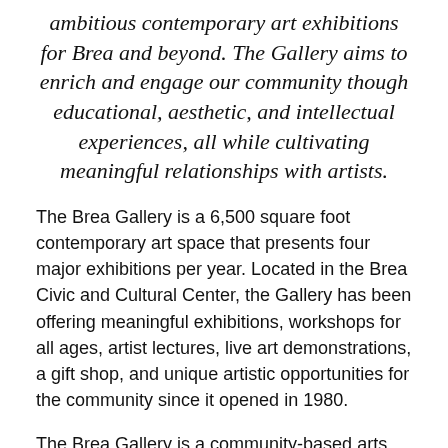ambitious contemporary art exhibitions for Brea and beyond. The Gallery aims to enrich and engage our community though educational, aesthetic, and intellectual experiences, all while cultivating meaningful relationships with artists.
The Brea Gallery is a 6,500 square foot contemporary art space that presents four major exhibitions per year. Located in the Brea Civic and Cultural Center, the Gallery has been offering meaningful exhibitions, workshops for all ages, artist lectures, live art demonstrations, a gift shop, and unique artistic opportunities for the community since it opened in 1980.
The Brea Gallery is a community-based arts space, working with upcoming and established artists in a variety of ways. However, the Gallery does not